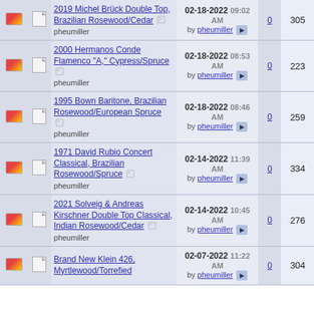|  |  | Title / Author | Last Post | Replies | Views |
| --- | --- | --- | --- | --- | --- |
| [img] | [img] | 2019 Michel Brück Double Top, Brazilian Rosewood/Cedar
pheumiller | 02-18-2022 09:02 AM by pheumiller | 0 | 305 |
| [img] | [img] | 2000 Hermanos Conde Flamenco "A," Cypress/Spruce
pheumiller | 02-18-2022 08:53 AM by pheumiller | 0 | 223 |
| [img] | [img] | 1995 Bown Baritone, Brazilian Rosewood/European Spruce
pheumiller | 02-18-2022 08:46 AM by pheumiller | 0 | 259 |
| [img] | [img] | 1971 David Rubio Concert Classical, Brazilian Rosewood/Spruce
pheumiller | 02-14-2022 11:39 AM by pheumiller | 0 | 334 |
| [img] | [img] | 2021 Solveig & Andreas Kirschner Double Top Classical, Indian Rosewood/Cedar
pheumiller | 02-14-2022 10:45 AM by pheumiller | 0 | 276 |
| [img] | [img] | Brand New Klein 426, Myrtlewood/Torrefied… | 02-07-2022 11:22 AM by pheumiller | 0 | 304 |